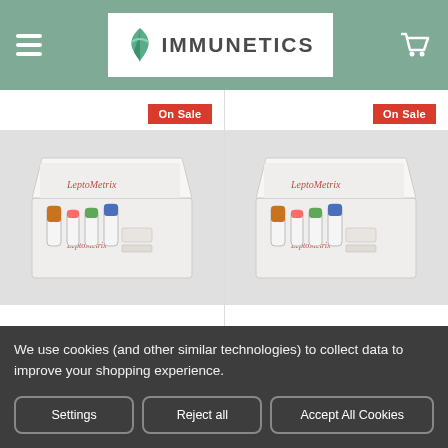IMMUNETICS
[Figure (photo): Product box open showing vials and reagents - On Sale badge, LeptoMetrix kit]
[Figure (photo): Product box open showing vials and reagents - On Sale badge, LeptoMetrix kit (second item)]
ADD TO CART
ADD TO CART
We use cookies (and other similar technologies) to collect data to improve your shopping experience.
Settings
Reject all
Accept All Cookies